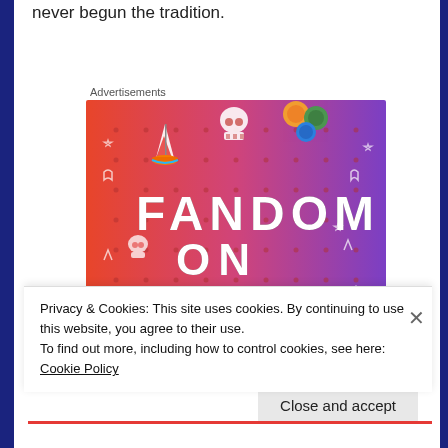never begun the tradition.
Advertisements
[Figure (illustration): Fandom on Tumblr advertisement banner with colorful gradient background (orange to purple), featuring a sailboat sticker, skull icons, dice icons, musical notes, and large text reading FANDOM ON tumblr]
Privacy & Cookies: This site uses cookies. By continuing to use this website, you agree to their use.
To find out more, including how to control cookies, see here: Cookie Policy
Close and accept